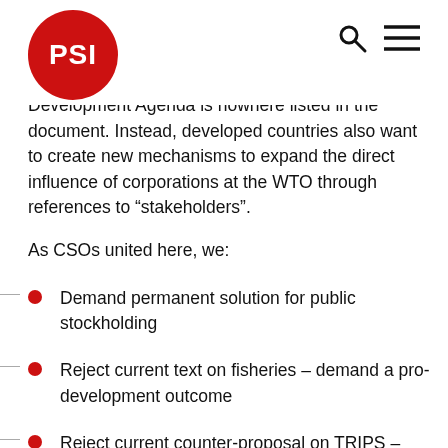PSI
development-centered policy space. The Development Agenda is nowhere listed in the document. Instead, developed countries also want to create new mechanisms to expand the direct influence of corporations at the WTO through references to “stakeholders”.
As CSOs united here, we:
Demand permanent solution for public stockholding
Reject current text on fisheries – demand a pro-development outcome
Reject current counter-proposal on TRIPS – demand a comprehensive waiver to resolve the pandemic